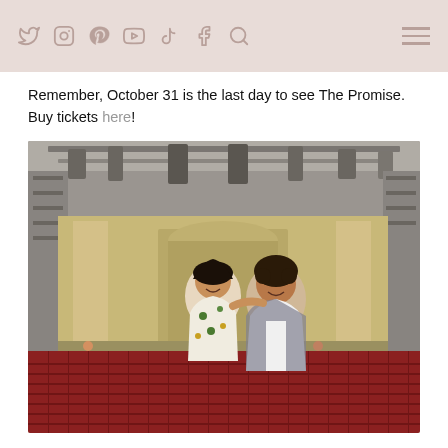Social media icons: Twitter, Instagram, Pinterest, YouTube, TikTok, Facebook, Search, Hamburger menu
Remember, October 31 is the last day to see The Promise. Buy tickets here!
[Figure (photo): Two women standing and smiling in front of a large outdoor theater stage with elaborate set design resembling ancient architecture, rows of red seats visible in the foreground, industrial rigging and lighting above the stage.]